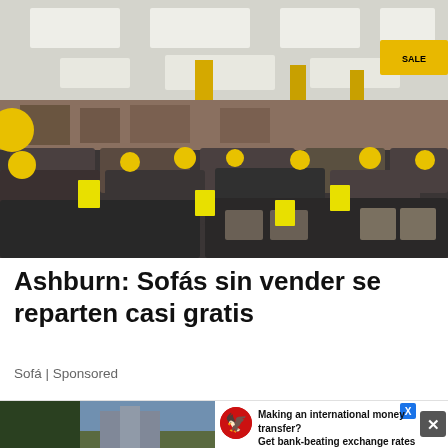[Figure (photo): Interior of a furniture showroom with rows of dark sofas and couches decorated with yellow balloons and yellow price tags. The store has a drop ceiling with fluorescent lighting and yellow support columns.]
Ashburn: Sofás sin vender se reparten casi gratis
Sofá | Sponsored
[Figure (photo): Bottom banner advertisement showing a partial outdoor photo on the left, a red eagle logo, and text 'Making an international money transfer? Get bank-beating exchange rates' with an X dismiss button on the right.]